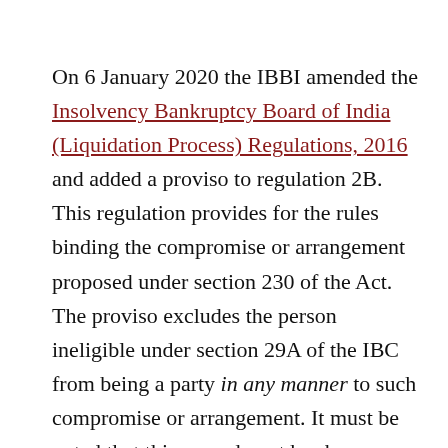On 6 January 2020 the IBBI amended the Insolvency Bankruptcy Board of India (Liquidation Process) Regulations, 2016 and added a proviso to regulation 2B. This regulation provides for the rules binding the compromise or arrangement proposed under section 230 of the Act. The proviso excludes the person ineligible under section 29A of the IBC from being a party in any manner to such compromise or arrangement. It must be noted that this amendment has been introduced to plug the loophole that existed in the insolvency law, and it also must be looked at as an attempt to preserve the true purpose of the IBC.